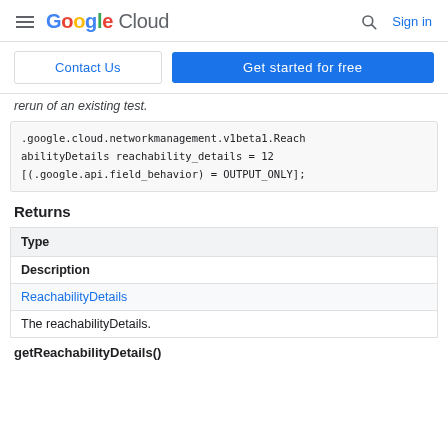Google Cloud  Sign in
Contact Us  Get started for free
rerun of an existing test.
.google.cloud.networkmanagement.v1beta1.ReachabilityDetails reachability_details = 12 [(.google.api.field_behavior) = OUTPUT_ONLY];
Returns
| Type | Description |
| --- | --- |
| ReachabilityDetails | The reachabilityDetails. |
getReachabilityDetails()